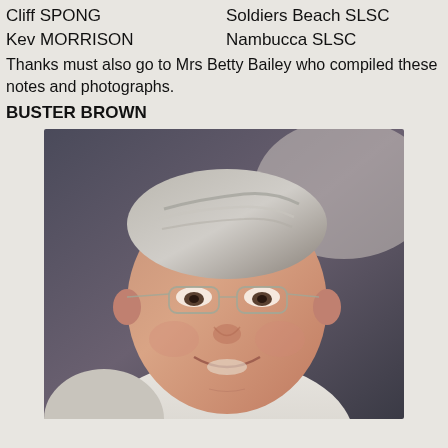Cliff SPONG	Soldiers Beach SLSC
Kev MORRISON	Nambucca SLSC
Thanks must also go to Mrs Betty Bailey who compiled these notes and photographs.
BUSTER BROWN
[Figure (photo): Black and white close-up portrait photograph of an elderly man with grey hair, wearing glasses, smiling. Identified as Buster Brown.]